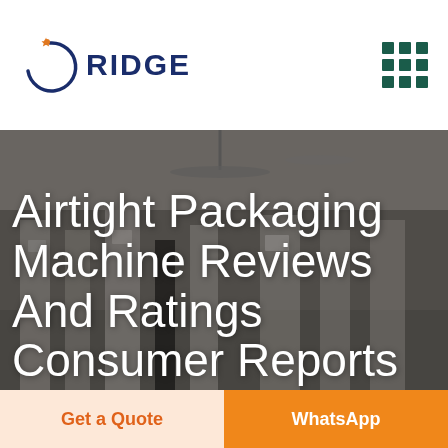[Figure (logo): RIDGE company logo with circular arc and star graphic in blue and orange, with text RIDGE in dark blue]
[Figure (infographic): 3x3 grid of dark teal square dots representing a menu/grid icon]
[Figure (photo): Background photo of an industrial factory floor with packaging machines, ceiling fans, and equipment. Dark overlay applied.]
Airtight Packaging Machine Reviews And Ratings Consumer Reports
Get a Quote
WhatsApp